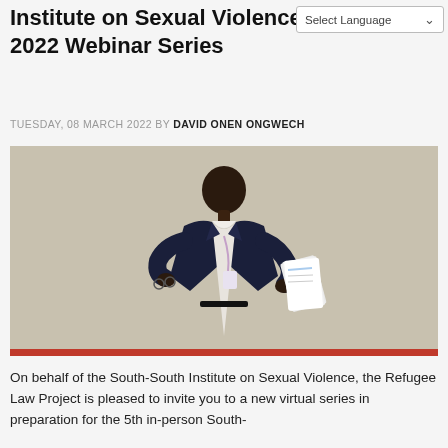Institute on Sexual Violence – 2022 Webinar Series
TUESDAY, 08 MARCH 2022 BY DAVID ONEN ONGWECH
[Figure (photo): A man in a dark suit, wearing a lanyard, holding glasses in one hand and papers/documents in the other, speaking in front of a light beige background.]
On behalf of the South-South Institute on Sexual Violence, the Refugee Law Project is pleased to invite you to a new virtual series in preparation for the 5th in-person South-